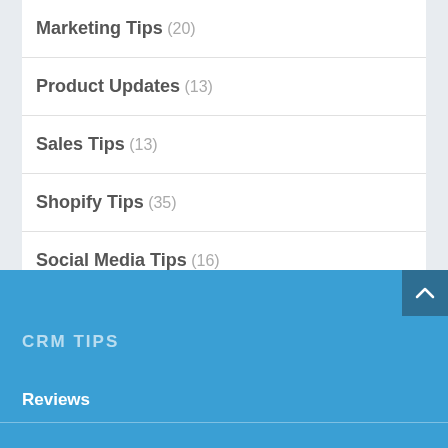Marketing Tips (20)
Product Updates (13)
Sales Tips (13)
Shopify Tips (35)
Social Media Tips (16)
CRM TIPS
Reviews